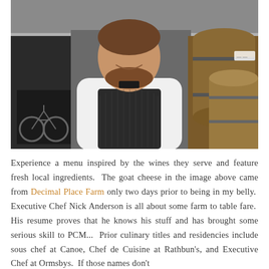[Figure (photo): A smiling male chef wearing a white dress shirt and dark striped apron, standing in front of large wooden wine barrels in what appears to be a winery or cellar setting. A bicycle is visible in the background on the left.]
Experience a menu inspired by the wines they serve and feature fresh local ingredients.  The goat cheese in the image above came from Decimal Place Farm only two days prior to being in my belly.  Executive Chef Nick Anderson is all about some farm to table fare.  His resume proves that he knows his stuff and has brought some serious skill to PCM...  Prior culinary titles and residencies include sous chef at Canoe, Chef de Cuisine at Rathbun's, and Executive Chef at Ormsbys.  If those names don't